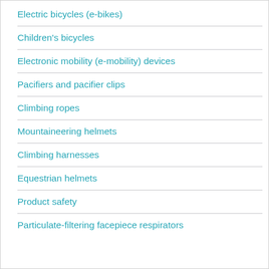Electric bicycles (e-bikes)
Children's bicycles
Electronic mobility (e-mobility) devices
Pacifiers and pacifier clips
Climbing ropes
Mountaineering helmets
Climbing harnesses
Equestrian helmets
Product safety
Particulate-filtering facepiece respirators